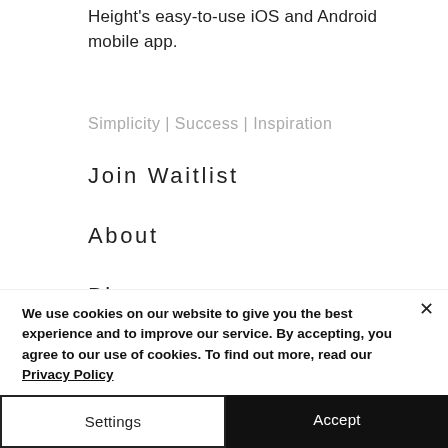Height's easy-to-use iOS and Android mobile app.
Simplicity | Success | Inspiration
Join Waitlist
About
Blog
We use cookies on our website to give you the best experience and to improve our service. By accepting, you agree to our use of cookies. To find out more, read our Privacy Policy
Settings
Accept